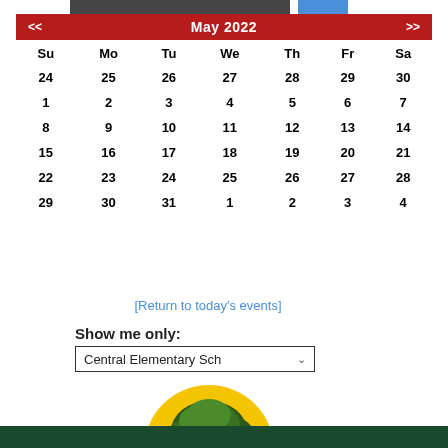| Su | Mo | Tu | We | Th | Fr | Sa |
| --- | --- | --- | --- | --- | --- | --- |
| 24 | 25 | 26 | 27 | 28 | 29 | 30 |
| 1 | 2 | 3 | 4 | 5 | 6 | 7 |
| 8 | 9 | 10 | 11 | 12 | 13 | 14 |
| 15 | 16 | 17 | 18 | 19 | 20 | 21 |
| 22 | 23 | 24 | 25 | 26 | 27 | 28 |
| 29 | 30 | 31 | 1 | 2 | 3 | 4 |
[Return to today's events]
Show me only:
Central Elementary Sch…
[Figure (logo): Yellow circle with lion cub sitting on a rock with green foliage, school mascot logo]